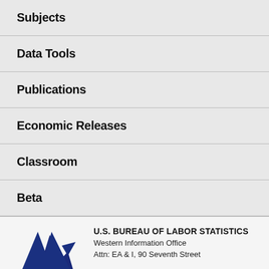Subjects
Data Tools
Publications
Economic Releases
Classroom
Beta
[Figure (logo): U.S. Bureau of Labor Statistics logo with blue lightning bolt star and red base stripe]
U.S. BUREAU OF LABOR STATISTICS
Western Information Office
Attn: EA & I, 90 Seventh Street